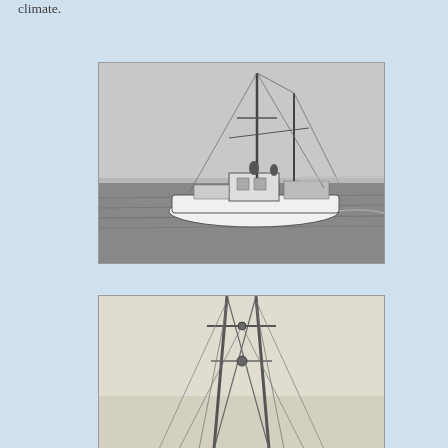climate.
[Figure (photo): Black and white photograph of a fishing boat with tall masts on open ocean water, viewed from the side.]
[Figure (photo): Black and white photograph showing the masts and rigging of a fishing vessel from a low angle, with sky in background.]